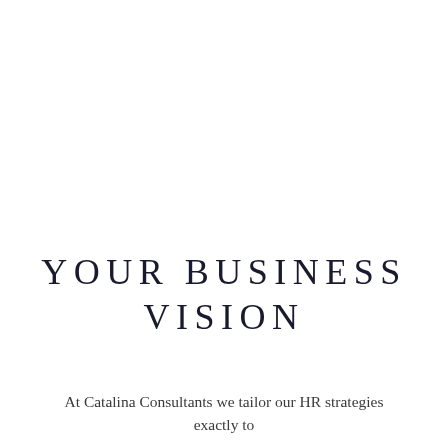YOUR BUSINESS VISION
At Catalina Consultants we tailor our HR strategies exactly to